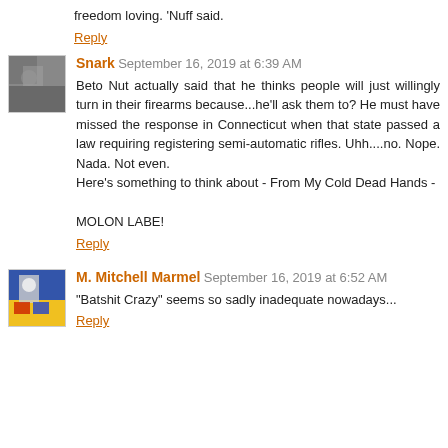freedom loving. 'Nuff said.
Reply
Snark  September 16, 2019 at 6:39 AM
Beto Nut actually said that he thinks people will just willingly turn in their firearms because...he'll ask them to? He must have missed the response in Connecticut when that state passed a law requiring registering semi-automatic rifles. Uhh....no. Nope. Nada. Not even.
Here's something to think about - From My Cold Dead Hands -

MOLON LABE!
Reply
M. Mitchell Marmel  September 16, 2019 at 6:52 AM
"Batshit Crazy" seems so sadly inadequate nowadays...
Reply